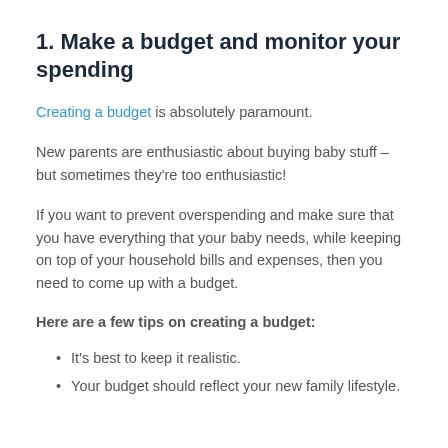1. Make a budget and monitor your spending
Creating a budget is absolutely paramount.
New parents are enthusiastic about buying baby stuff – but sometimes they're too enthusiastic!
If you want to prevent overspending and make sure that you have everything that your baby needs, while keeping on top of your household bills and expenses, then you need to come up with a budget.
Here are a few tips on creating a budget:
It's best to keep it realistic.
Your budget should reflect your new family lifestyle.